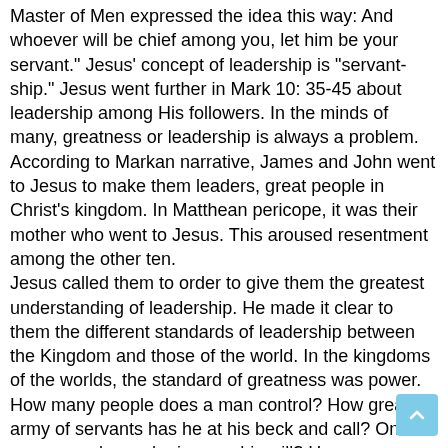Master of Men expressed the idea this way: And whoever will be chief among you, let him be your servant." Jesus' concept of leadership is "servant-ship." Jesus went further in Mark 10: 35-45 about leadership among His followers. In the minds of many, greatness or leadership is always a problem. According to Markan narrative, James and John went to Jesus to make them leaders, great people in Christ's kingdom. In Matthean pericope, it was their mother who went to Jesus. This aroused resentment among the other ten. Jesus called them to order to give them the greatest understanding of leadership. He made it clear to them the different standards of leadership between the Kingdom and those of the world. In the kingdoms of the worlds, the standard of greatness was power. How many people does a man control? How great an army of servants has he at his beck and call? On how many people can he impose his will? How many people can he compel to be obedient to his word of command and to do things for him? Once upon a time, Galba when he became Emperor summed up the heathens idea of leadership and greatness when he said that now he was Emperor he could do what he liked and do it to anyone.